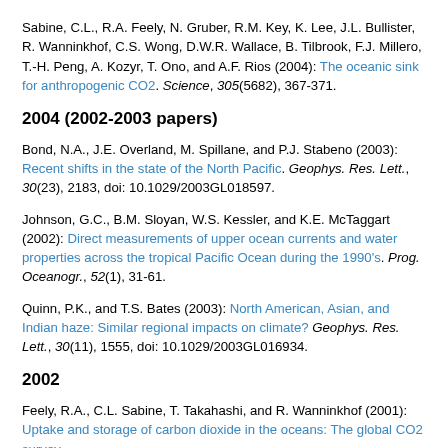Sabine, C.L., R.A. Feely, N. Gruber, R.M. Key, K. Lee, J.L. Bullister, R. Wanninkhof, C.S. Wong, D.W.R. Wallace, B. Tilbrook, F.J. Millero, T.-H. Peng, A. Kozyr, T. Ono, and A.F. Rios (2004): The oceanic sink for anthropogenic CO2. Science, 305(5682), 367-371.
2004 (2002-2003 papers)
Bond, N.A., J.E. Overland, M. Spillane, and P.J. Stabeno (2003): Recent shifts in the state of the North Pacific. Geophys. Res. Lett., 30(23), 2183, doi: 10.1029/2003GL018597.
Johnson, G.C., B.M. Sloyan, W.S. Kessler, and K.E. McTaggart (2002): Direct measurements of upper ocean currents and water properties across the tropical Pacific Ocean during the 1990's. Prog. Oceanogr., 52(1), 31-61.
Quinn, P.K., and T.S. Bates (2003): North American, Asian, and Indian haze: Similar regional impacts on climate? Geophys. Res. Lett., 30(11), 1555, doi: 10.1029/2003GL016934.
2002
Feely, R.A., C.L. Sabine, T. Takahashi, and R. Wanninkhof (2001): Uptake and storage of carbon dioxide in the oceans: The global CO2 survey.